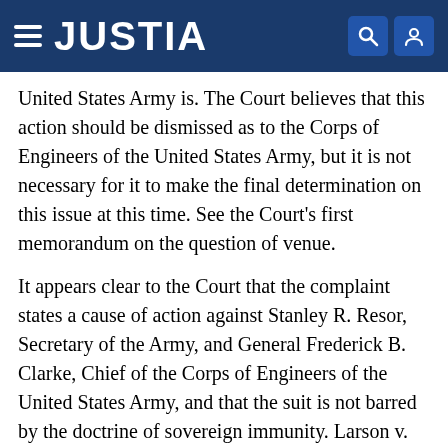JUSTIA
United States Army is. The Court believes that this action should be dismissed as to the Corps of Engineers of the United States Army, but it is not necessary for it to make the final determination on this issue at this time. See the Court's first memorandum on the question of venue.
It appears clear to the Court that the complaint states a cause of action against Stanley R. Resor, Secretary of the Army, and General Frederick B. Clarke, Chief of the Corps of Engineers of the United States Army, and that the suit is not barred by the doctrine of sovereign immunity. Larson v. Domestic & Foreign Commerce Corp., 337 U.S. 682, 69 S. Ct. 1457, 93 L. Ed. 1628 (1949), simply does not apply where the complaint alleges that the actions or omissions of the designated officials of the United States are ultra vires, either because they are outside of the scope of their statutory powers or, if within same, it